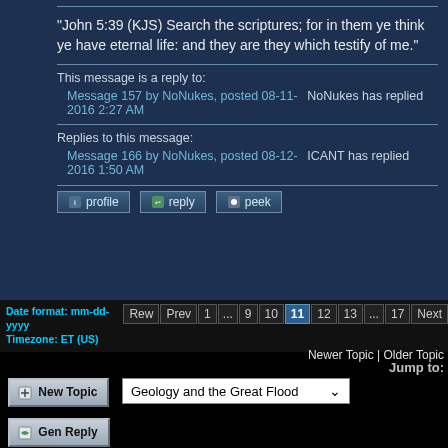"John 5:39 (KJS) Search the scriptures; for in them ye think ye have eternal life: and they are they which testify of me."
This message is a reply to:
Message 157 by NoNukes, posted 08-11-2016 2:27 AM	NoNukes has replied
Replies to this message:
Message 166 by NoNukes, posted 08-12-2016 1:50 AM	ICANT has replied
Date format: mm-dd-yyyy
Timezone: ET (US)
Rew Prev 1 ... 9 10 11 12 13 ... 17 Next
Newer Topic | Older Topic
Jump to:
New Topic
Geology and the Great Flood
Gen Reply